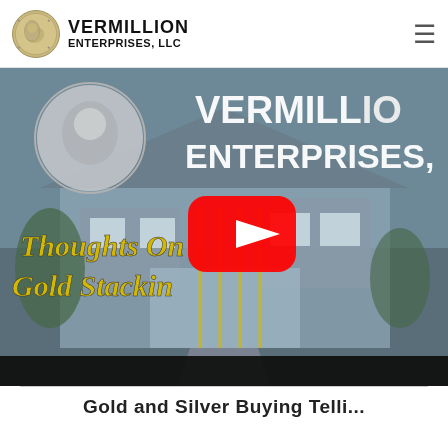[Figure (logo): Vermillion Enterprises LLC logo with coin image and company name]
[Figure (screenshot): YouTube video thumbnail showing 'Thoughts On Gold Stacking' with Vermillion Enterprises branding, a house background, and a YouTube play button overlay]
Gold and Silver Buying Telli...